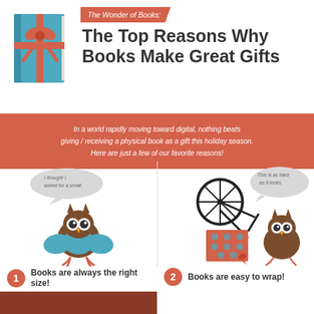[Figure (illustration): Book wrapped with red ribbon and bow, as a gift]
The Wonder of Books: The Top Reasons Why Books Make Great Gifts
In a world rapidly moving toward digital, nothing beats giving / receiving a physical book as a gift this holiday season. Here are just a few of our favorite reasons!
[Figure (illustration): Owl wearing teal outfit with speech bubble saying 'I thought I asked for a small.']
1 Books are always the right size!
[Figure (illustration): Owl next to a bicycle and wrapped gift with speech bubble saying 'This is as hard as it looks.']
2 Books are easy to wrap!